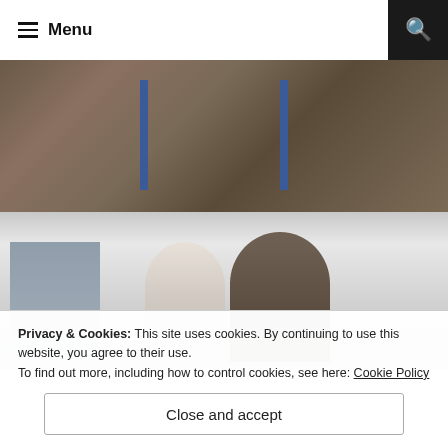Menu
[Figure (photo): Museum display cases with historical clothing artifacts hung on blue display bars in the upper section, and mannequins/figures in glass display cases in the lower section showing a dark coat and white garment with portrait painting.]
Privacy & Cookies: This site uses cookies. By continuing to use this website, you agree to their use.
To find out more, including how to control cookies, see here: Cookie Policy
Close and accept